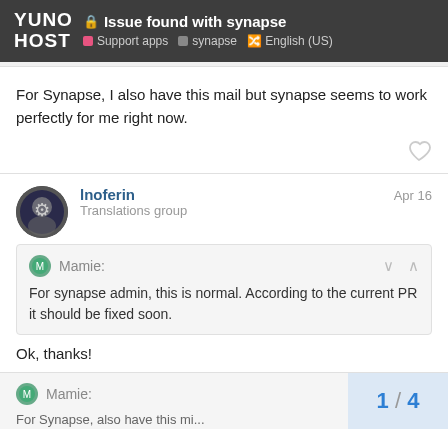YunoHost | Issue found with synapse | Support apps | synapse | English (US)
For Synapse, I also have this mail but synapse seems to work perfectly for me right now.
lnoferin  Apr 16
Translations group
Mamie: For synapse admin, this is normal. According to the current PR it should be fixed soon.
Ok, thanks!
Mamie: 1 / 4